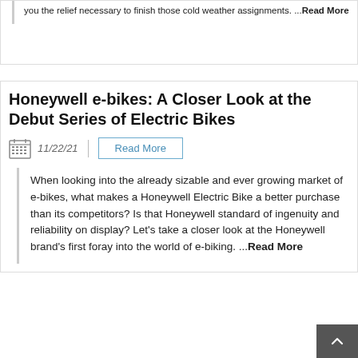you the relief necessary to finish those cold weather assignments. ...Read More
Honeywell e-bikes: A Closer Look at the Debut Series of Electric Bikes
11/22/21
Read More
When looking into the already sizable and ever growing market of e-bikes, what makes a Honeywell Electric Bike a better purchase than its competitors? Is that Honeywell standard of ingenuity and reliability on display? Let's take a closer look at the Honeywell brand's first foray into the world of e-biking. ...Read More